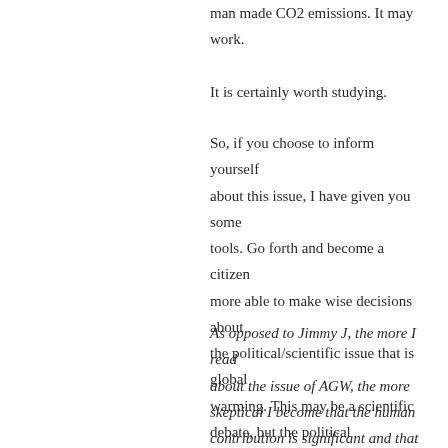man made CO2 emissions. It may work. It is certainly worth studying.
So, if you choose to inform yourself about this issue, I have given you some tools. Go forth and become a citizen more able to make wise decisions about the political/scientific issue that is global warming. This may be a scientific debate, but the political ramifications are huge.
As opposed to Jimmy J, the more I read about the issue of AGW, the more skeptical I become that the human contribution is significant and that we need to make major changes in order to avoid catastrophe. That being said, I